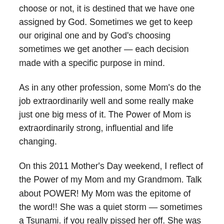choose or not, it is destined that we have one assigned by God. Sometimes we get to keep our original one and by God’s choosing sometimes we get another — each decision made with a specific purpose in mind.
As in any other profession, some Mom’s do the job extraordinarily well and some really make just one big mess of it. The Power of Mom is extraordinarily strong, influential and life changing.
On this 2011 Mother’s Day weekend, I reflect of the Power of my Mom and my Grandmom. Talk about POWER! My Mom was the epitome of the word!! She was a quiet storm — sometimes a Tsunami. if you really pissed her off. She was the most loving and supportive Mom anyone could ever have. Although we had our MOMENTS (especially when I was a teenager and the hair was beginning to grow